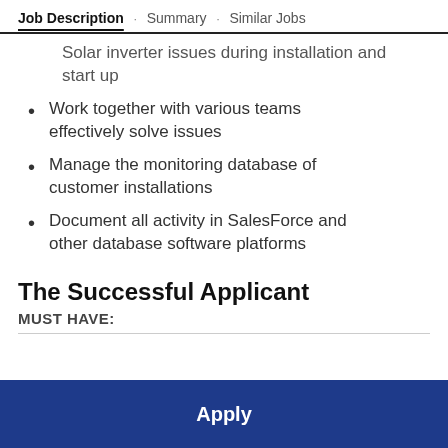Job Description · Summary · Similar Jobs
Solar inverter issues during installation and start up
Work together with various teams effectively solve issues
Manage the monitoring database of customer installations
Document all activity in SalesForce and other database software platforms
The Successful Applicant
MUST HAVE: